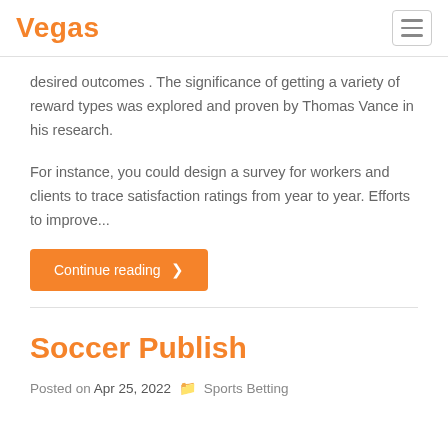Vegas
desired outcomes . The significance of getting a variety of reward types was explored and proven by Thomas Vance in his research.
For instance, you could design a survey for workers and clients to trace satisfaction ratings from year to year. Efforts to improve...
Continue reading →
Soccer Publish
Posted on Apr 25, 2022  Sports Betting